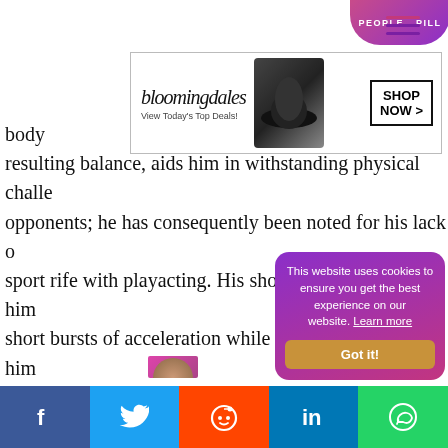[Figure (screenshot): People Pill partial banner at top]
[Figure (screenshot): Bloomingdales advertisement banner with hat image and SHOP NOW button]
body ... re of gra resulting balance, aids him in withstanding physical challe opponents; he has consequently been noted for his lack o sport rife with playacting. His short, strong legs allow him short bursts of acceleration while his quick feet enable him control of the ball when dribbling at speed. His former Ba manager Pep Guardiola once stated, "Messi is the only pl runs faster with the ball than he does without it." Althoug improved his -20s predominantl of hi he usually be ide o finish and pr
[Figure (screenshot): Cookie consent popup with gradient purple-pink background saying 'This website uses cookies to ensure you get the best experience on our website. Learn more' and a 'Got it!' button]
[Figure (screenshot): Social media share bar at bottom with Facebook, Twitter, Reddit, LinkedIn, WhatsApp buttons]